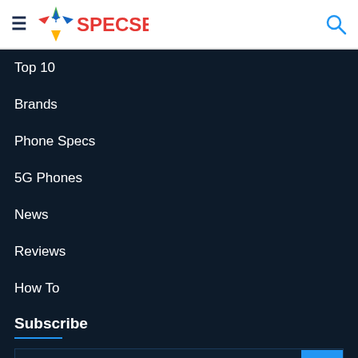SPECSER
Top 10
Brands
Phone Specs
5G Phones
News
Reviews
How To
Subscribe
Enter your Email address
Subscribe